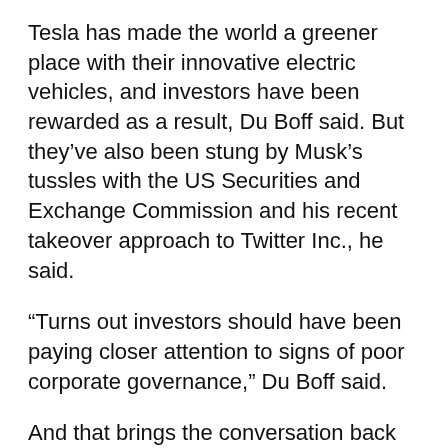Tesla has made the world a greener place with their innovative electric vehicles, and investors have been rewarded as a result, Du Boff said. But they've also been stung by Musk's tussles with the US Securities and Exchange Commission and his recent takeover approach to Twitter Inc., he said.
“Turns out investors should have been paying closer attention to signs of poor corporate governance,” Du Boff said.
And that brings the conversation back to trying to define ESG. Hours after it emerged that S&P Dow Jones had expelled Tesla, Shaheen Contractor and Eric Balchunas from BI published a note